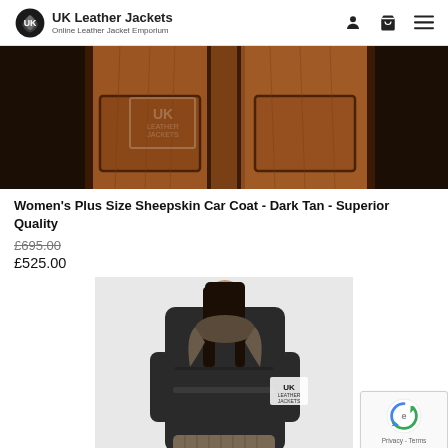UK Leather Jackets - Online Leather Jacket Emporium
[Figure (photo): Close-up of a brown/dark tan sheepskin car coat, showing suede exterior with dark trim edges and pockets]
Women's Plus Size Sheepskin Car Coat - Dark Tan - Superior Quality
£695.00 (original price, struck through)
£525.00
[Figure (photo): Woman wearing a dark brown sheepskin coat with fur interior lining visible at collar, full-length coat view, UK Leather Jackets watermark on sleeve]